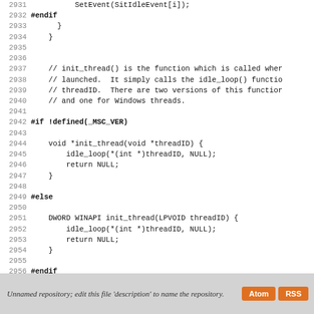Source code listing lines 2931-2958 showing C code with init_thread function, #if !defined(_MSC_VER) and #else branches
Unnamed repository; edit this file 'description' to name the repository.